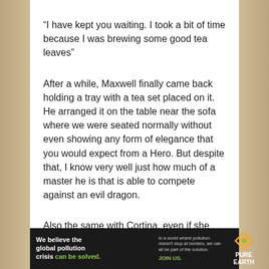“I have kept you waiting. I took a bit of time because I was brewing some good tea leaves”
After a while, Maxwell finally came back holding a tray with a tea set placed on it. He arranged it on the table near the sofa where we were seated normally without even showing any form of elegance that you would expect from a Hero. But despite that, I know very well just how much of a master he is that is able to compete against an evil dragon.
Also the same with Cortina, even if she shows
[Figure (infographic): We believe the global pollution crisis can be solved. In a world where pollution doesn’t stop at borders, we can all be part of the solution. JOIN US. PURE EARTH logo with diamond/leaf icon.]